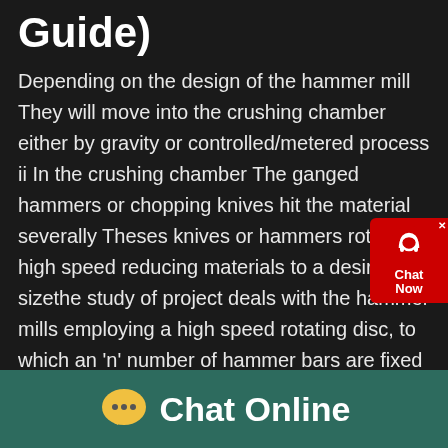Guide)
Depending on the design of the hammer mill They will move into the crushing chamber either by gravity or controlled/metered process ii In the crushing chamber The ganged hammers or chopping knives hit the material severally Theses knives or hammers rotate a high speed reducing materials to a desired sizethe study of project deals with the hammer mills employing a high speed rotating disc, to which an 'n' number of hammer bars are fixed and swung outwards by centrifugal forcesmaterial is fed in, either at the top or at the centre, and it is thrown out centrifugally and crushed between the hammer bars or against breaker
[Figure (other): Red chat widget with headset icon and Chat Now label]
[Figure (other): Chat Online footer bar with yellow speech bubble icon]